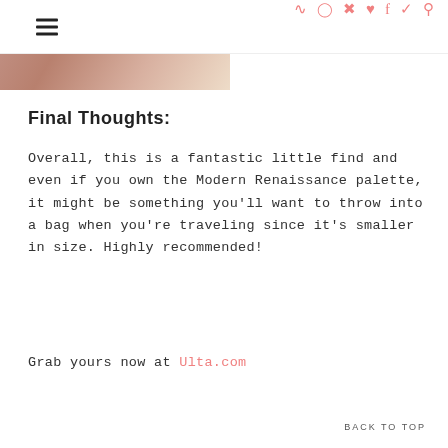ABH CYPRUS UMBER [hamburger menu icon, social icons: RSS, Instagram, Pinterest, Heart, Facebook, Twitter, Search]
[Figure (photo): Close-up photo of skin/eye area with text overlay reading 'ABH CYPRUS UMBER' in white uppercase letters on a beige/tan background]
Final Thoughts:
Overall, this is a fantastic little find and even if you own the Modern Renaissance palette, it might be something you'll want to throw into a bag when you're traveling since it's smaller in size. Highly recommended!
Grab yours now at Ulta.com
BACK TO TOP